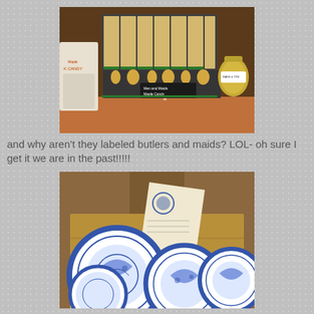[Figure (photo): Photo of a shop display showing maple candy figures labeled 'Men and Maids Maple Candy' with price tag, arranged on a wooden shelf with other products including a jar of honey and a container labeled 'Maple Candy']
and why aren't they labeled butlers and maids? LOL- oh sure I get it we are in the past!!!!!
[Figure (photo): Photo of blue and white decorative plates with willow pattern, displayed in a wooden box or crate with a paper card leaning against them, in a shop setting]